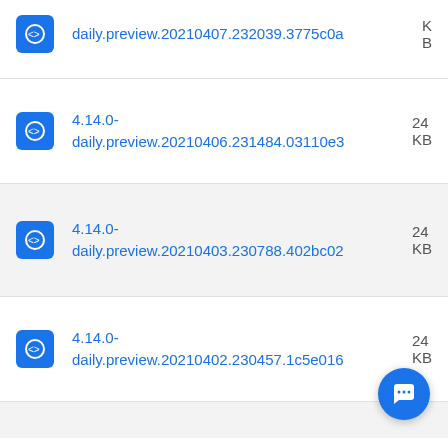daily.preview.20210407.232039.3775c0a  KB
4.14.0-daily.preview.20210406.231484.03110e3  24 KB
4.14.0-daily.preview.20210403.230788.402bc02  24 KB
4.14.0-daily.preview.20210402.230457.1c5e016  24 KB